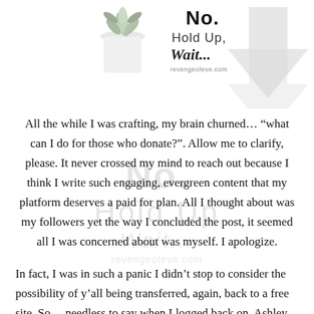[Figure (logo): Blog header image showing a potted succulent plant on the left, and stylized text 'No. Hold Up, Wait...' with website URL 'revengeoleve.com', plus a large downward pointing chevron/arrow watermark on the right side. A large watermark of 'No. Hold Up Wait...' text overlays the content area below.]
All the while I was crafting, my brain churned… “what can I do for those who donate?”. Allow me to clarify, please. It never crossed my mind to reach out because I think I write such engaging, evergreen content that my platform deserves a paid for plan. All I thought about was my followers yet the way I concluded the post, it seemed all I was concerned about was myself. I apologize.
In fact, I was in such a panic I didn’t stop to consider the possibility of y’all being transferred, again, back to a free site. So… needless to say when I logged back on, Ashley saved the day by bringing it to my attention that it may be